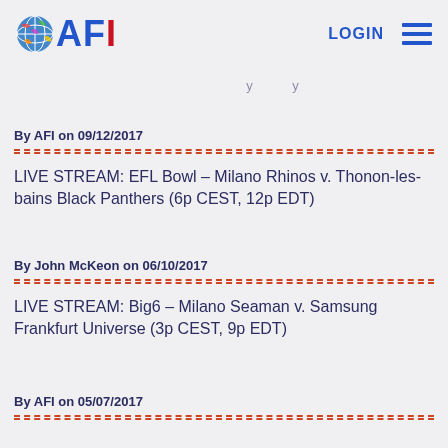AFI LOGIN
By AFI on 09/12/2017
LIVE STREAM: EFL Bowl – Milano Rhinos v. Thonon-les-bains Black Panthers (6p CEST, 12p EDT)
By John McKeon on 06/10/2017
LIVE STREAM: Big6 – Milano Seaman v. Samsung Frankfurt Universe (3p CEST, 9p EDT)
By AFI on 05/07/2017